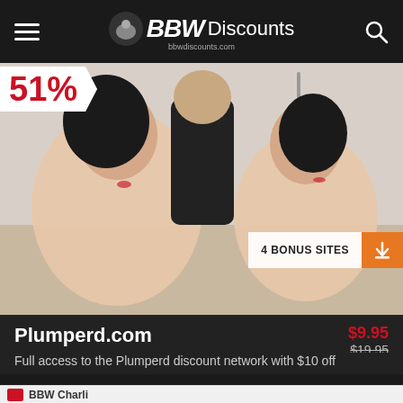BBW Discounts — bbwdiscounts.com
[Figure (photo): Adult content promotional image for Plumperd.com showing three people in an intimate scene]
51%
4 BONUS SITES
Plumperd.com
$9.95
$19.95
Full access to the Plumperd discount network with $10 off
BUY NOW
VIEW DEAL
BBW Charli